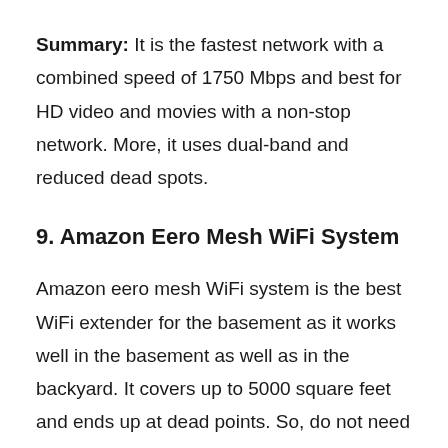Summary: It is the fastest network with a combined speed of 1750 Mbps and best for HD video and movies with a non-stop network. More, it uses dual-band and reduced dead spots.
9. Amazon Eero Mesh WiFi System
Amazon eero mesh WiFi system is the best WiFi extender for the basement as it works well in the basement as well as in the backyard. It covers up to 5000 square feet and ends up at dead points. So, do not need